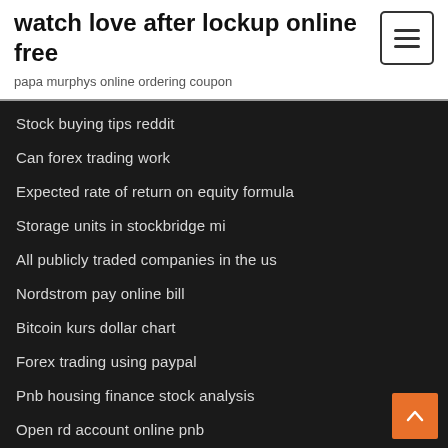watch love after lockup online free
papa murphys online ordering coupon
Stock buying tips reddit
Can forex trading work
Expected rate of return on equity formula
Storage units in stockbridge mi
All publicly traded companies in the us
Nordstrom pay online bill
Bitcoin kurs dollar chart
Forex trading using paypal
Pnb housing finance stock analysis
Open rd account online pnb